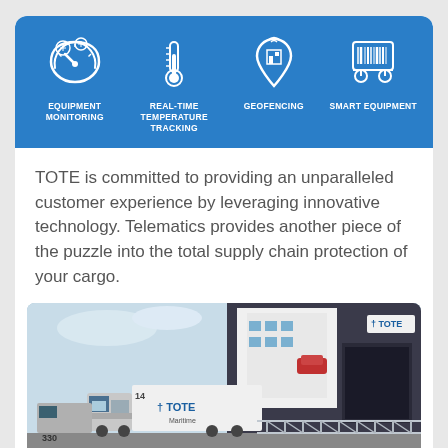[Figure (infographic): Blue banner with four telematics feature icons: Equipment Monitoring (speedometer icon), Real-Time Temperature Tracking (thermometer icon), Geofencing (location pin with building icon), Smart Equipment (barcode/trolley icon). White icons and labels on blue background.]
TOTE is committed to providing an unparalleled customer experience by leveraging innovative technology. Telematics provides another piece of the puzzle into the total supply chain protection of your cargo.
[Figure (photo): Photograph of TOTE maritime shipping scene: white refrigerated semi-trucks with 'TOTE Maritime' branding being loaded onto a large cargo ship at a port facility. A metal truss bridge/ramp structure is visible in the foreground. Truck number 330 visible.]